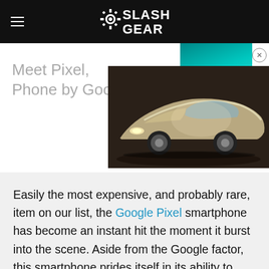SlashGear
[Figure (screenshot): Advertisement banner showing 'Meet Pixel, Phone by Google.' text on left and a concept sports car photo on right, with a teal/TV screen in background. Close button (X) in top right.]
Easily the most expensive, and probably rare, item on our list, the Google Pixel smartphone has become an instant hit the moment it burst into the scene. Aside from the Google factor, this smartphone prides itself in its ability to (almost) perfectly capture every moment, be it in still photos or moving pictures. Rated as having the best camera around, the Pixel is an adept